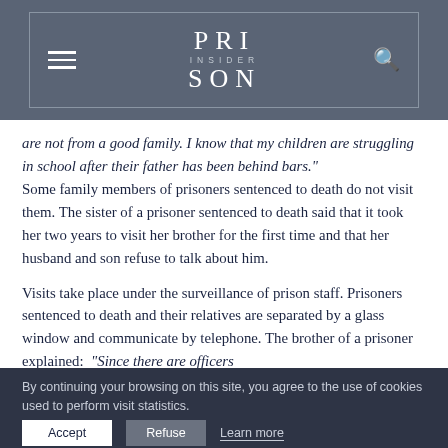PRISON INSIDER
are not from a good family. I know that my children are struggling in school after their father has been behind bars." Some family members of prisoners sentenced to death do not visit them. The sister of a prisoner sentenced to death said that it took her two years to visit her brother for the first time and that her husband and son refuse to talk about him.

Visits take place under the surveillance of prison staff. Prisoners sentenced to death and their relatives are separated by a glass window and communicate by telephone. The brother of a prisoner explained: “Since there are officers
By continuing your browsing on this site, you agree to the use of cookies used to perform visit statistics.
Accept   Refuse   Learn more